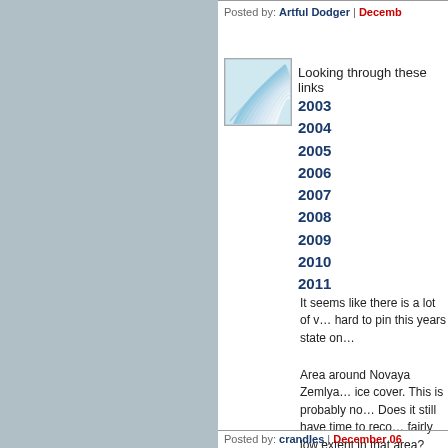Posted by: Artful Dodger | Decemb…
[Figure (illustration): Blue and white fan/wave pattern logo thumbnail image]
Looking through these links
2003
2004
2005
2006
2007
2008
2009
2010
2011
It seems like there is a lot of v… hard to pin this years state on…
Area around Novaya Zemlya… ice cover. This is probably no… Does it still have time to reco… fairly low extent in that area?
Posted by: crandles | December 06…